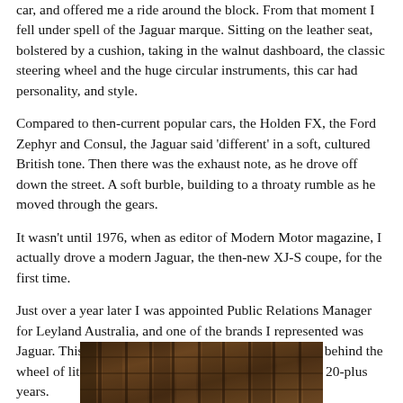car, and offered me a ride around the block. From that moment I fell under spell of the Jaguar marque. Sitting on the leather seat, bolstered by a cushion, taking in the walnut dashboard, the classic steering wheel and the huge circular instruments, this car had personality, and style.
Compared to then-current popular cars, the Holden FX, the Ford Zephyr and Consul, the Jaguar said 'different' in a soft, cultured British tone. Then there was the exhaust note, as he drove off down the street. A soft burble, building to a throaty rumble as he moved through the gears.
It wasn't until 1976, when as editor of Modern Motor magazine, I actually drove a modern Jaguar, the then-new XJ-S coupe, for the first time.
Just over a year later I was appointed Public Relations Manager for Leyland Australia, and one of the brands I represented was Jaguar. This began a new driving career which saw me behind the wheel of literally hundreds of Jaguars over the ensuing 20-plus years.
[Figure (photo): Bottom portion of a photograph showing what appears to be a brick building facade or structure, partially visible at the bottom of the page.]